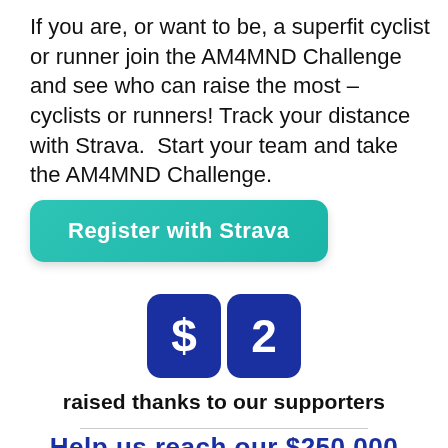If you are, or want to be, a superfit cyclist or runner join the AM4MND Challenge and see who can raise the most – cyclists or runners! Track your distance with Strava.  Start your team and take the AM4MND Challenge.
Register with Strava
[Figure (illustration): Two dark blue rounded square icons side by side showing dollar sign ($) and numeral 2, representing a $2 fundraising counter or badge.]
raised thanks to our supporters
Help us reach our $250,000